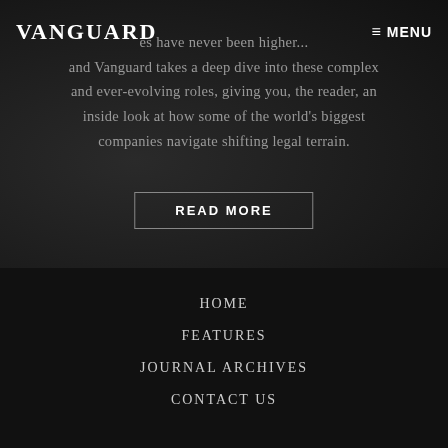VANGUARD   ≡ MENU
...es have never been higher... and Vanguard takes a deep dive into these complex and ever-evolving roles, giving you, the reader, an inside look at how some of the world's biggest companies navigate shifting legal terrain.
READ MORE
HOME
FEATURES
JOURNAL ARCHIVES
CONTACT US